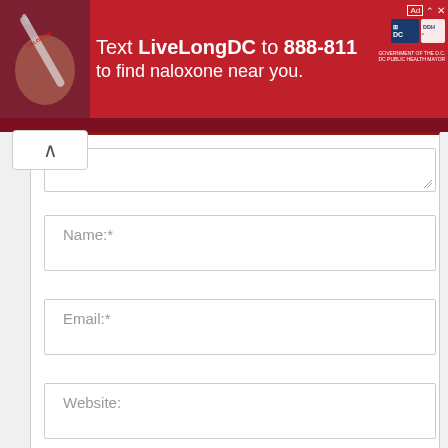[Figure (infographic): Red banner advertisement: Text LiveLongDC to 888-811 to find naloxone near you. DC government branding with DDH logo.]
[Figure (screenshot): Web form with scroll-up button, text area, Name, Email, Website input fields, a save info checkbox, and a reCAPTCHA widget.]
Name:*
Email:*
Website:
Save my name, email, and website in this browser for the next time I comment.
I'm not a robot
reCAPTCHA
Privacy - Terms